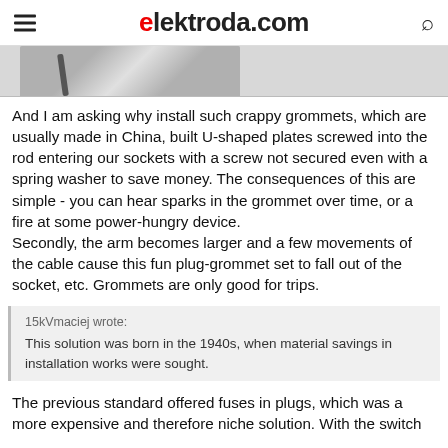elektroda.com
[Figure (photo): Partial view of a photograph showing what appears to be a cable or rod against a light background]
And I am asking why install such crappy grommets, which are usually made in China, built U-shaped plates screwed into the rod entering our sockets with a screw not secured even with a spring washer to save money. The consequences of this are simple - you can hear sparks in the grommet over time, or a fire at some power-hungry device.
Secondly, the arm becomes larger and a few movements of the cable cause this fun plug-grommet set to fall out of the socket, etc. Grommets are only good for trips.
15kVmaciej wrote:
This solution was born in the 1940s, when material savings in installation works were sought.
The previous standard offered fuses in plugs, which was a more expensive and therefore niche solution. With the switch